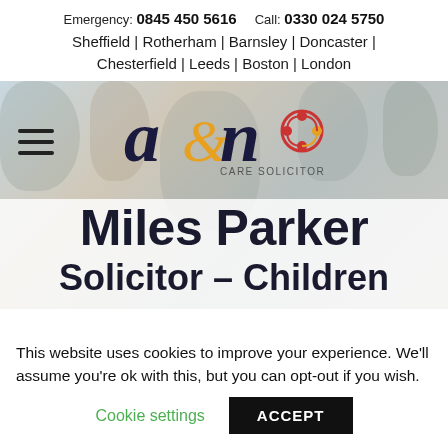Emergency: 0845 450 5616   Call: 0330 024 5750
Sheffield | Rotherham | Barnsley | Doncaster | Chesterfield | Leeds | Boston | London
[Figure (logo): a&n CARE SOLICITORS logo with hamburger menu icon on the left, set against a blurred background photo of people]
Miles Parker
Solicitor – Children
This website uses cookies to improve your experience. We'll assume you're ok with this, but you can opt-out if you wish.